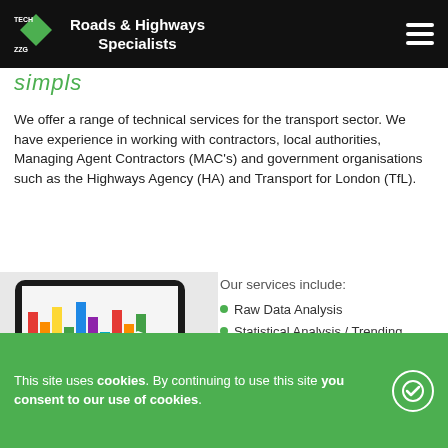Roads & Highways Specialists
simpls (partially visible italic heading)
We offer a range of technical services for the transport sector. We have experience in working with contractors, local authorities, Managing Agent Contractors (MAC's) and government organisations such as the Highways Agency (HA) and Transport for London (TfL).
[Figure (photo): Tablet device showing colorful bar charts and data visualizations, placed on a yellow/orange striped surface]
Our services include:
Raw Data Analysis
Statistical Analysis / Trending
Desktop Studies
This site uses cookies. By continuing to use this site you consent to our use of cookies.